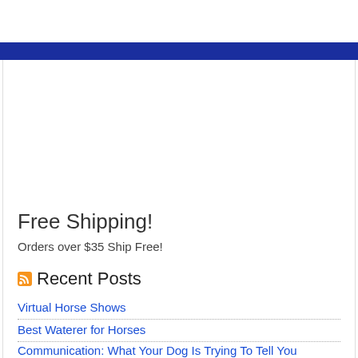[Figure (other): Blue navigation bar across the top of the page]
Free Shipping!
Orders over $35 Ship Free!
Recent Posts
Virtual Horse Shows
Best Waterer for Horses
Communication: What Your Dog Is Trying To Tell You